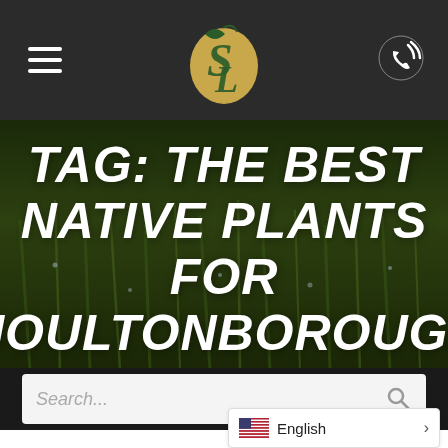[Figure (logo): Navigation bar with hamburger menu icon on left, circular logo with stylized S/L letters in center, and phone icon on right, all on dark background]
TAG: THE BEST NATIVE PLANTS FOR MOULTONBOROUGH
[Figure (screenshot): Search bar input field with placeholder text 'Search...' and magnifying glass icon on right, dark background behind]
English